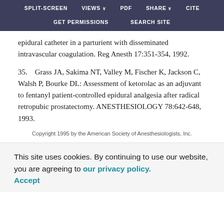SPLIT-SCREEN   VIEWS   PDF   SHARE   CITE   GET PERMISSIONS   SEARCH SITE
epidural catheter in a parturient with disseminated intravascular coagulation. Reg Anesth 17:351-354, 1992.
35.   Grass JA, Sakima NT, Valley M, Fischer K, Jackson C, Walsh P, Bourke DL: Assessment of ketorolac as an adjuvant to fentanyl patient-controlled epidural analgesia after radical retropubic prostatectomy. ANESTHESIOLOGY 78:642-648, 1993.
Copyright 1995 by the American Society of Anesthesiologists, Inc.
This site uses cookies. By continuing to use our website, you are agreeing to our privacy policy. Accept